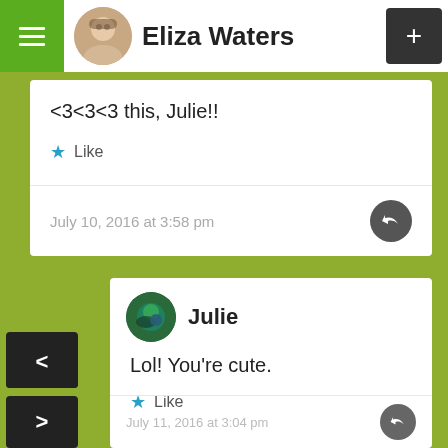Eliza Waters
<3<3<3 this, Julie!!
Like
July 10, 2016 at 3:58 pm
Julie
Lol! You're cute.
Like
July 11, 2016 at 3:04 pm
33